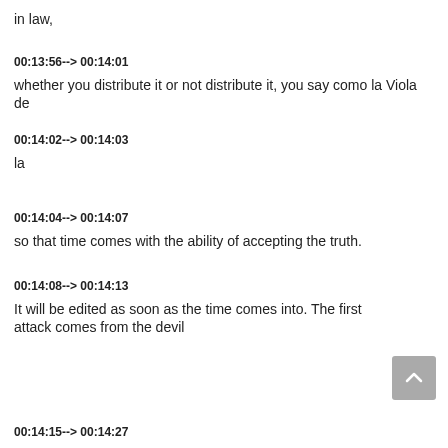in law,
00:13:56--> 00:14:01
whether you distribute it or not distribute it, you say como la Viola de
00:14:02--> 00:14:03
la
00:14:04--> 00:14:07
so that time comes with the ability of accepting the truth.
00:14:08--> 00:14:13
It will be edited as soon as the time comes into. The first attack comes from the devil
00:14:15--> 00:14:27